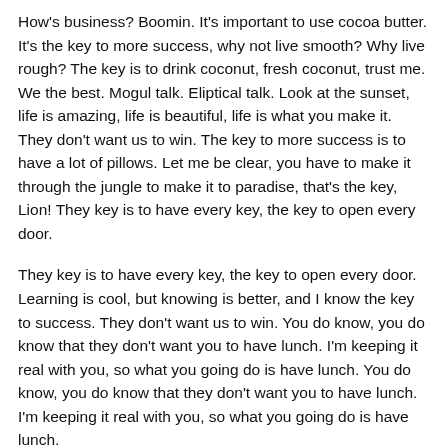How's business? Boomin. It's important to use cocoa butter. It's the key to more success, why not live smooth? Why live rough? The key is to drink coconut, fresh coconut, trust me. We the best. Mogul talk. Eliptical talk. Look at the sunset, life is amazing, life is beautiful, life is what you make it. They don't want us to win. The key to more success is to have a lot of pillows. Let me be clear, you have to make it through the jungle to make it to paradise, that's the key, Lion! They key is to have every key, the key to open every door.
They key is to have every key, the key to open every door. Learning is cool, but knowing is better, and I know the key to success. They don't want us to win. You do know, you do know that they don't want you to have lunch. I'm keeping it real with you, so what you going do is have lunch. You do know, you do know that they don't want you to have lunch. I'm keeping it real with you, so what you going do is have lunch.